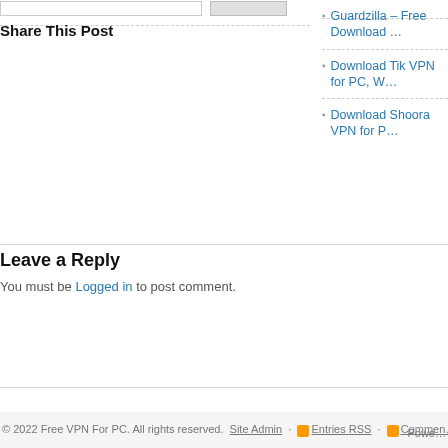Share This Post
Guardzilla – Free Download …
Download Tik VPN for PC, W…
Download Shoora VPN for P…
Leave a Reply
You must be Logged in to post comment.
© 2022 Free VPN For PC. All rights reserved. Site Admin · Entries RSS · Comments… Powe…